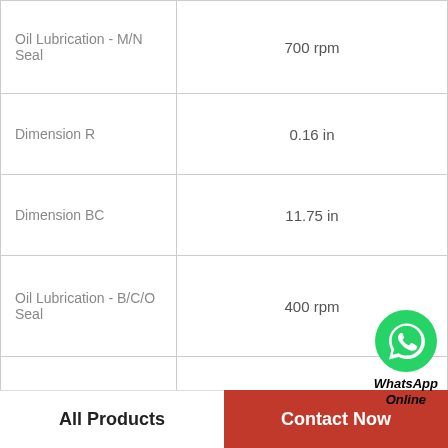| Property | Value |
| --- | --- |
| Oil Lubrication - M/N Seal | 700 rpm |
| Dimension R | 0.16 in |
| Dimension BC | 11.75 in |
| Oil Lubrication - B/C/O Seal | 400 rpm |
| Bearing Number | 22226 |
| Dimension J (Bolt Size) | 0.75 in |
| Dimension L | 4.6 in |
| C - Dynamic Load |  |
[Figure (logo): WhatsApp Online button with green phone icon]
All Products | Contact Now